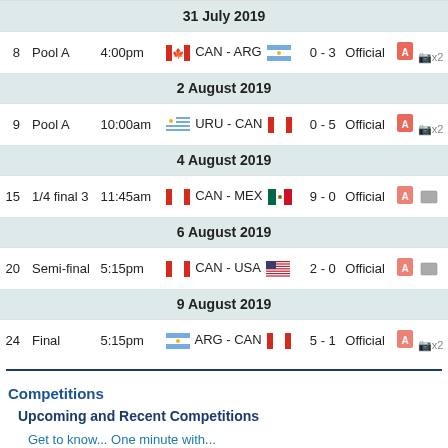| # | Phase | Time | Match | Score | Status | Docs |
| --- | --- | --- | --- | --- | --- | --- |
| 31 July 2019 |
| 8 | Pool A | 4:00pm | CAN - ARG | 0 - 3 | Official |  |
| 2 August 2019 |
| 9 | Pool A | 10:00am | URU - CAN | 0 - 5 | Official |  |
| 4 August 2019 |
| 15 | 1/4 final 3 | 11:45am | CAN - MEX | 9 - 0 | Official |  |
| 6 August 2019 |
| 20 | Semi-final | 5:15pm | CAN - USA | 2 - 0 | Official |  |
| 9 August 2019 |
| 24 | Final | 5:15pm | ARG - CAN | 5 - 1 | Official |  |
Competitions
Upcoming and Recent Competitions
Get to know... One minute with...
Appointments